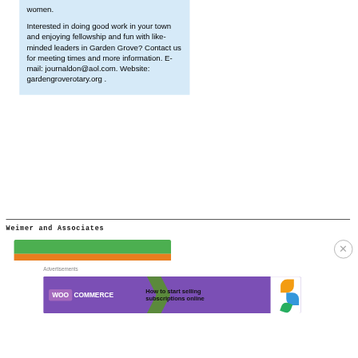women.

Interested in doing good work in your town and enjoying fellowship and fun with like-minded leaders in Garden Grove? Contact us for meeting times and more information. E-mail: journaldon@aol.com. Website: gardengroverotary.org .
Weimer and Associates
[Figure (other): Green and orange banner bar at top of a section, partially visible]
[Figure (screenshot): WooCommerce advertisement banner: purple background with WooCommerce logo, arrow, and text 'How to start selling subscriptions online'. Colorful leaf/petal design on right. Label 'Advertisements' above.]